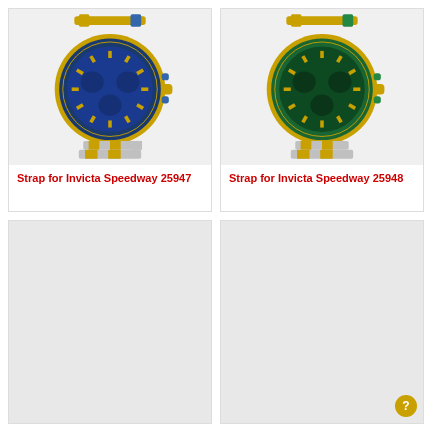[Figure (photo): Invicta Speedway 25947 watch with blue dial and gold/silver two-tone bracelet]
Strap for Invicta Speedway 25947
[Figure (photo): Invicta Speedway 25948 watch with green dial and gold/silver two-tone bracelet]
Strap for Invicta Speedway 25948
[Figure (photo): Placeholder image area (light gray)]
[Figure (photo): Placeholder image area (light gray)]